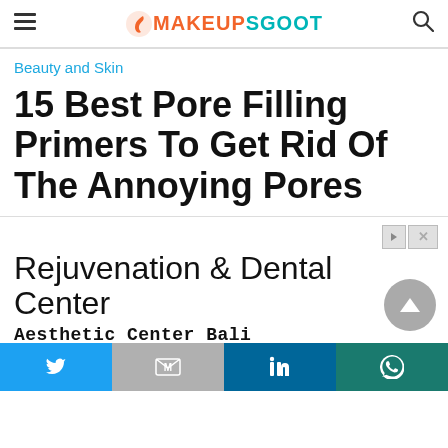≡  MAKEUPSGOOT  🔍
Beauty and Skin
15 Best Pore Filling Primers To Get Rid Of The Annoying Pores
[Figure (other): Advertisement banner for Rejuvenation & Dental Center — Aesthetic Center Bali. Text: 'Rejuvenation & Dental Center', 'Aesthetic Center Bali', 'The Best Rejuvenation & Dental Center in Bali', 'radiancebali.com']
Twitter | Gmail | LinkedIn | WhatsApp social share bar